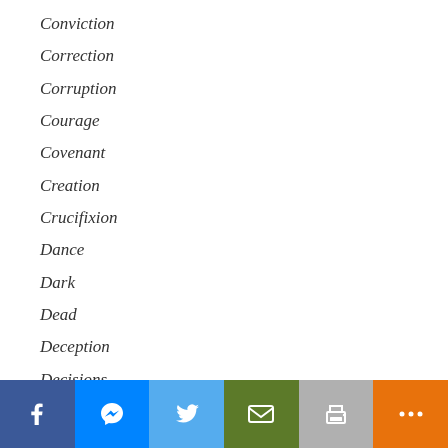Conviction
Correction
Corruption
Courage
Covenant
Creation
Crucifixion
Dance
Dark
Dead
Deception
Decisions
Declare
Deliver
Demands
[Figure (other): Social sharing bar with Facebook, Messenger, Twitter, Email, Print, and More buttons]